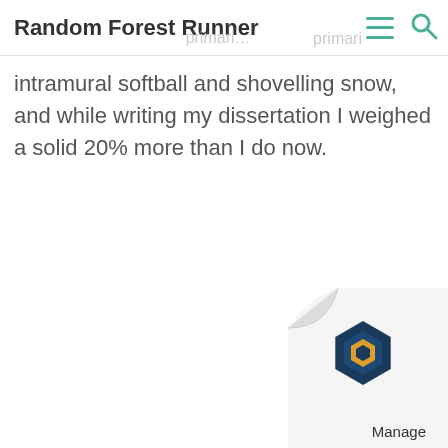Random Forest Runner
took a full decade off from the sport. My primarily intramural softball and shovelling snow, and while writing my dissertation I weighed a solid 20% more than I do now.
[Figure (illustration): Page curl in bottom right corner with a blue hexagonal logo and 'Manage' label, resembling an ad widget overlay.]